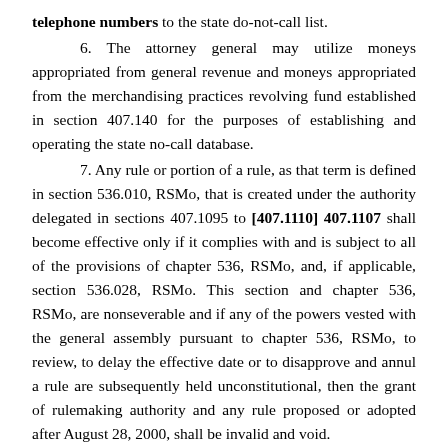telephone numbers to the state do-not-call list.

6. The attorney general may utilize moneys appropriated from general revenue and moneys appropriated from the merchandising practices revolving fund established in section 407.140 for the purposes of establishing and operating the state no-call database.

7. Any rule or portion of a rule, as that term is defined in section 536.010, RSMo, that is created under the authority delegated in sections 407.1095 to [407.1110] 407.1107 shall become effective only if it complies with and is subject to all of the provisions of chapter 536, RSMo, and, if applicable, section 536.028, RSMo. This section and chapter 536, RSMo, are nonseverable and if any of the powers vested with the general assembly pursuant to chapter 536, RSMo, to review, to delay the effective date or to disapprove and annul a rule are subsequently held unconstitutional, then the grant of rulemaking authority and any rule proposed or adopted after August 28, 2000, shall be invalid and void.

407.1104. 1. Any...